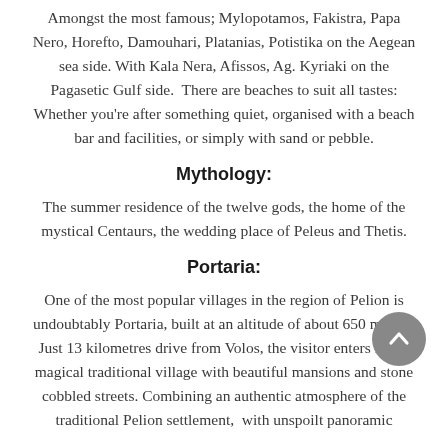Amongst the most famous; Mylopotamos, Fakistra, Papa Nero, Horefto, Damouhari, Platanias, Potistika on the Aegean sea side. With Kala Nera, Afissos, Ag. Kyriaki on the Pagasetic Gulf side. There are beaches to suit all tastes: Whether you're after something quiet, organised with a beach bar and facilities, or simply with sand or pebble.
Mythology:
The summer residence of the twelve gods, the home of the mystical Centaurs, the wedding place of Peleus and Thetis.
Portaria:
One of the most popular villages in the region of Pelion is undoubtably Portaria, built at an altitude of about 650 meters. Just 13 kilometres drive from Volos, the visitor enters into a magical traditional village with beautiful mansions and stone cobbled streets. Combining an authentic atmosphere of the traditional Pelion settlement, with unspoilt panoramic